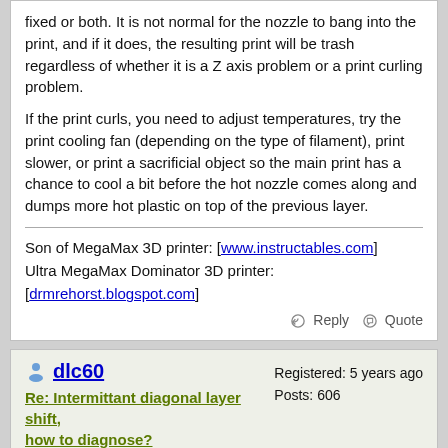fixed or both. It is not normal for the nozzle to bang into the print, and if it does, the resulting print will be trash regardless of whether it is a Z axis problem or a print curling problem.
If the print curls, you need to adjust temperatures, try the print cooling fan (depending on the type of filament), print slower, or print a sacrificial object so the main print has a chance to cool a bit before the hot nozzle comes along and dumps more hot plastic on top of the previous layer.
Son of MegaMax 3D printer: [www.instructables.com] Ultra MegaMax Dominator 3D printer: [drmrehorst.blogspot.com]
Reply   Quote
dlc60
Re: Intermittant diagonal layer shift, how to diagnose?
September 15, 2020 11:42PM
Registered: 5 years ago
Posts: 606